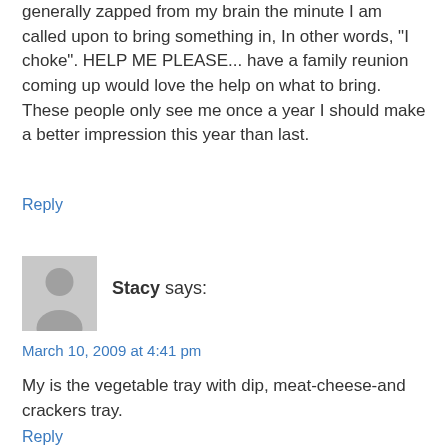generally zapped from my brain the minute I am called upon to bring something in, In other words, "I choke". HELP ME PLEASE... have a family reunion coming up would love the help on what to bring. These people only see me once a year I should make a better impression this year than last.
Reply
[Figure (illustration): Generic user avatar placeholder image - grey silhouette of a person on light grey background]
Stacy says:
March 10, 2009 at 4:41 pm
My is the vegetable tray with dip, meat-cheese-and crackers tray.
Reply